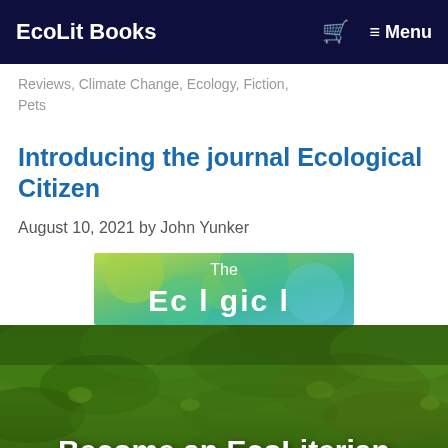EcoLit Books   🛒  ≡ Menu
Reviews, Climate Change, Ecology, Fiction, Pets
Introducing the journal Ecological Citizen
August 10, 2021 by John Yunker
[Figure (illustration): Book cover image showing 'The Ecological Citizen' journal cover with colorful green and teal abstract background and white text]
[Figure (photo): Aerial forest photo with green tree canopy, featuring white bold text 'Become an EcoLiterian' at the bottom]